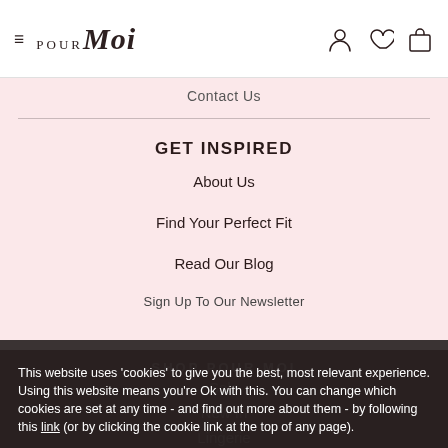Pour Moi — navigation header with hamburger menu and icons
Contact Us
GET INSPIRED
About Us
Find Your Perfect Fit
Read Our Blog
Sign Up To Our Newsletter
SHOP POUR MOI
Sale
New In
Lingerie
This website uses 'cookies' to give you the best, most relevant experience. Using this website means you're Ok with this. You can change which cookies are set at any time - and find out more about them - by following this link (or by clicking the cookie link at the top of any page).
OK, I understand